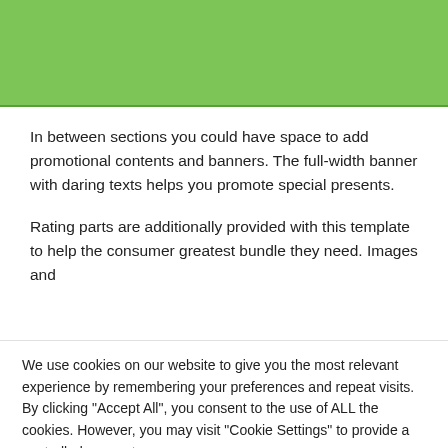[Figure (other): Green banner / promotional header area with solid green background]
In between sections you could have space to add promotional contents and banners. The full-width banner with daring texts helps you promote special presents.
Rating parts are additionally provided with this template to help the consumer greatest bundle they need. Images and
We use cookies on our website to give you the most relevant experience by remembering your preferences and repeat visits. By clicking "Accept All", you consent to the use of ALL the cookies. However, you may visit "Cookie Settings" to provide a controlled consent.